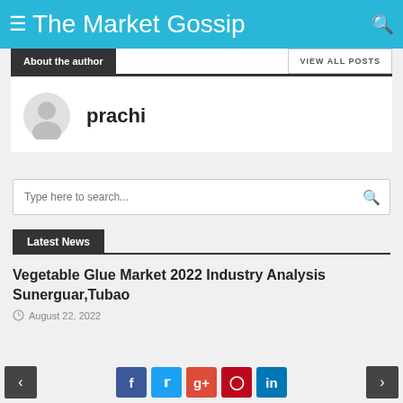The Market Gossip
About the author
VIEW ALL POSTS
prachi
Type here to search...
Latest News
Vegetable Glue Market 2022 Industry Analysis Sunerguar,Tubao
August 22, 2022